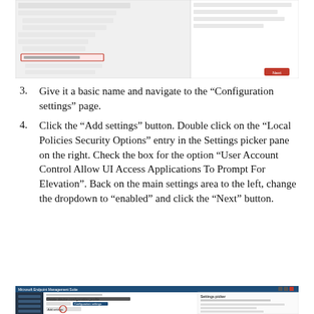[Figure (screenshot): Screenshot of a Windows device management/configuration interface showing a navigation tree on the left with 'Administrative templates' highlighted in red, and settings pane on the right. A red 'Next' button is visible in the bottom right.]
Give it a basic name and navigate to the “Configuration settings” page.
Click the “Add settings” button. Double click on the “Local Policies Security Options” entry in the Settings picker pane on the right. Check the box for the option “User Account Control Allow UI Access Applications To Prompt For Elevation”. Back on the main settings area to the left, change the dropdown to “enabled” and click the “Next” button.
[Figure (screenshot): Screenshot of Microsoft Endpoint Manager suite showing the 'Create device configuration profile' form with 'Configuration settings' tab active, and the Settings picker pane on the right. A red circle highlights an 'Add settings' button.]